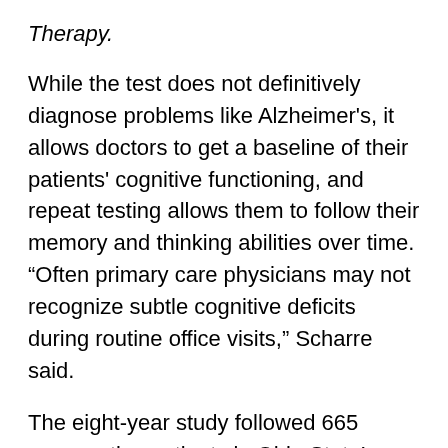Therapy.
While the test does not definitively diagnose problems like Alzheimer's, it allows doctors to get a baseline of their patients' cognitive functioning, and repeat testing allows them to follow their memory and thinking abilities over time. “Often primary care physicians may not recognize subtle cognitive deficits during routine office visits,” Scharre said.
The eight-year study followed 665 consecutive patients in Ohio State’s Center for Cognitive and Memory Disorders. Researchers found that the SAGE test accurately identified patients with mild cognitive impairment who eventually progressed to a dementia